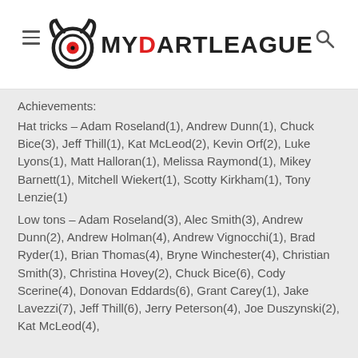MYDARTLEAGUE
Achievements:
Hat tricks – Adam Roseland(1), Andrew Dunn(1), Chuck Bice(3), Jeff Thill(1), Kat McLeod(2), Kevin Orf(2), Luke Lyons(1), Matt Halloran(1), Melissa Raymond(1), Mikey Barnett(1), Mitchell Wiekert(1), Scotty Kirkham(1), Tony Lenzie(1)
Low tons – Adam Roseland(3), Alec Smith(3), Andrew Dunn(2), Andrew Holman(4), Andrew Vignocchi(1), Brad Ryder(1), Brian Thomas(4), Bryne Winchester(4), Christian Smith(3), Christina Hovey(2), Chuck Bice(6), Cody Scerine(4), Donovan Eddards(6), Grant Carey(1), Jake Lavezzi(7), Jeff Thill(6), Jerry Peterson(4), Joe Duszynski(2), Kat McLeod(4),